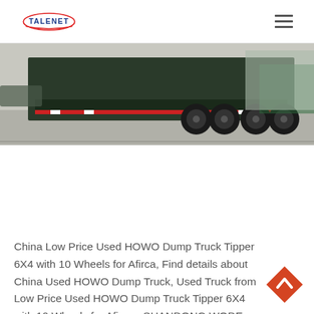TALENET
[Figure (photo): Rear view of a heavy-duty HOWO dump truck/low-bed trailer with large tires on a road, with buildings and greenery in the background.]
China Low Price Used HOWO Dump Truck Tipper 6X4 with 10 Wheels for Afirca, Find details about China Used HOWO Dump Truck, Used Truck from Low Price Used HOWO Dump Truck Tipper 6X4 with 10 Wheels for Afirca - SHANDONG WODE